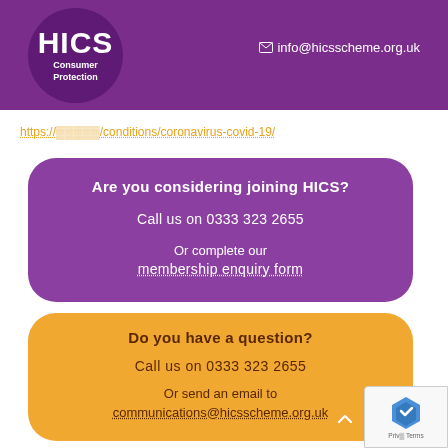HICS Consumer Protection | info@hicsscheme.org.uk
https://...conditions/coronavirus-covid-19/
Are you considering joining HICS?

Call us on 0333 323 2655

Or complete our membership enquiry form
Do you have a question?

Call us on 0333 323 2655

Or send an email to communications@hicsscheme.org.uk